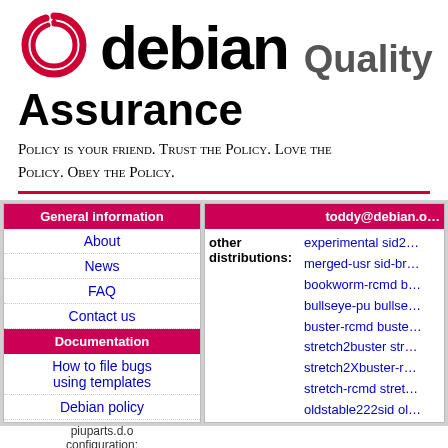[Figure (logo): Debian swirl logo in red]
debian Quality Assurance
Policy is your friend. Trust the Policy. Love the Policy. Obey the Policy.
| General information |
| --- |
| About |
| News |
| FAQ |
| Contact us |
| Documentation |
| How to file bugs using templates |
| Debian policy |
| piuparts.d.o configuration: |
| toddy@debian.o… |
| --- |
| other distributions: | experimental sid2… merged-usr sid-b… bookworm-rcmd b… bullseye-pu bullse… buster-rcmd buste… stretch2buster str… stretch2Xbuster-r… stretch-rcmd stret… oldstable222sid ol… jessie2Xstretch je… jessie-lts2stretch j… jessie jessie-rcmd… wheezy2jessie wh… |